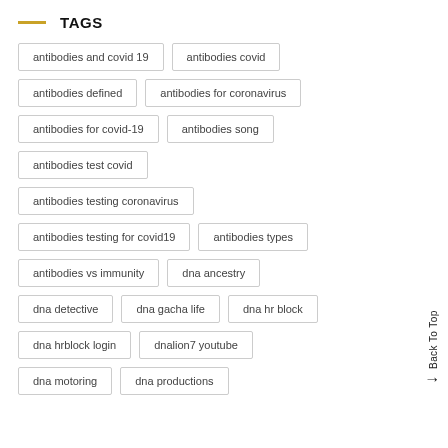TAGS
antibodies and covid 19
antibodies covid
antibodies defined
antibodies for coronavirus
antibodies for covid-19
antibodies song
antibodies test covid
antibodies testing coronavirus
antibodies testing for covid19
antibodies types
antibodies vs immunity
dna ancestry
dna detective
dna gacha life
dna hr block
dna hrblock login
dnalion7 youtube
dna motoring
dna productions